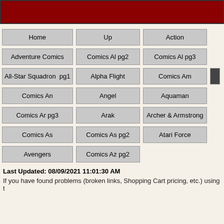Home
Up
Action
Adventure Comics
Comics Al pg2
Comics Al pg3
All-Star Squadron  pg1
Alpha Flight
Comics Am
Comics An
Angel
Aquaman
Comics Ar pg3
Arak
Archer & Armstrong
Comics As
Comics As pg2
Atari Force
Avengers
Comics Az pg2
Last Updated: 08/09/2021 11:01:30 AM
If you have found problems (broken links, Shopping Cart pricing, etc.) using t